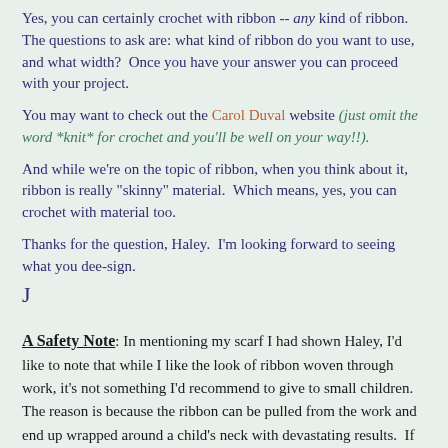Yes, you can certainly crochet with ribbon -- any kind of ribbon.  The questions to ask are: what kind of ribbon do you want to use, and what width?  Once you have your answer you can proceed with your project.
You may want to check out the Carol Duval website (just omit the word *knit* for crochet and you'll be well on your way!!).
And while we're on the topic of ribbon, when you think about it, ribbon is really "skinny" material.  Which means, yes, you can crochet with material too.
Thanks for the question, Haley.  I'm looking forward to seeing what you dee-sign. J
A Safety Note: In mentioning my scarf I had shown Haley, I'd like to note that while I like the look of ribbon woven through work, it's not something I'd recommend to give to small children.  The reason is because the ribbon can be pulled from the work and end up wrapped around a child's neck with devastating results.  If you do want to give such an item to a child, take the time to go through and securely sew down (tack down) the ribbon with needle and thread.  The extra time you put into securing the ribbon may make a difference between life or death for that child.  (This is the same reason that there's no more pull